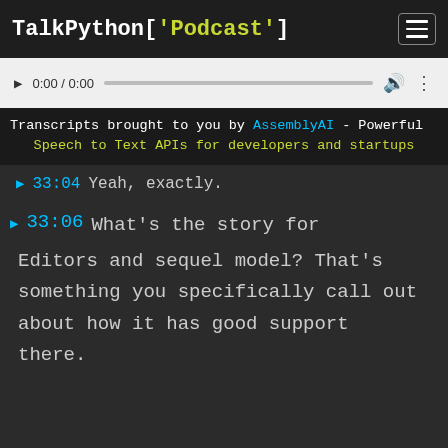TalkPython['Podcast']
[Figure (screenshot): Audio player with play button, time 0:00 / 0:00, progress bar, volume icon, and more options icon]
Transcripts brought to you by AssemblyAI - Powerful Speech to Text APIs for developers and startups
▶ 33:04 Yeah, exactly.
▶ 33:06 What's the story for Editors and sequel model? That's something you specifically call out about how it has good support there.